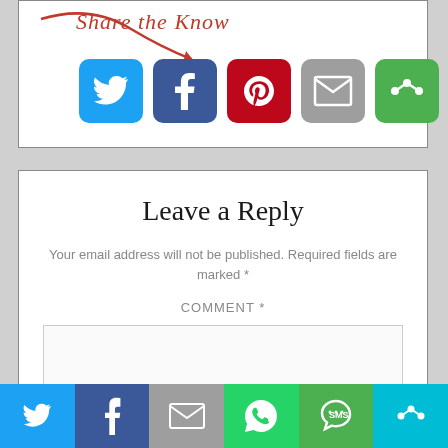[Figure (screenshot): Share the Knowledge social sharing widget with red cursive text and arrow, plus Twitter, Facebook, Pinterest, Email, and More social media icon buttons]
Leave a Reply
Your email address will not be published. Required fields are marked *
COMMENT *
[Figure (screenshot): Bottom social sharing bar with Twitter, Facebook, Email, WhatsApp, SMS, and More buttons in colored segments]